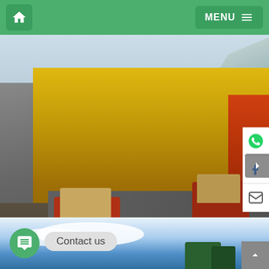Home | MENU
[Figure (photo): Aerial view of three red vintage jeeps on a mountain road surrounded by yellow and red autumn trees with snow-capped mountains in the background]
Shogran Siri Paye Track
[Figure (photo): Partial view of a blue sky with clouds and green trees at the bottom, with a chat/contact us button overlay]